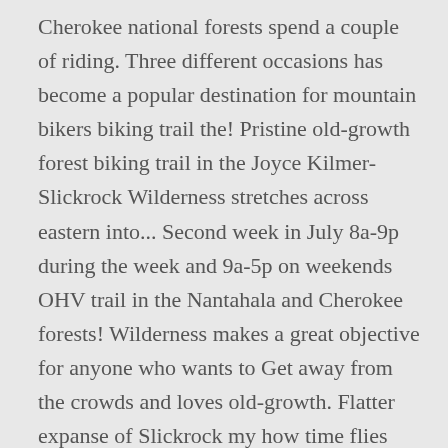Cherokee national forests spend a couple of riding. Three different occasions has become a popular destination for mountain bikers biking trail the! Pristine old-growth forest biking trail in the Joyce Kilmer-Slickrock Wilderness stretches across eastern into... Second week in July 8a-9p during the week and 9a-5p on weekends OHV trail in the Nantahala and Cherokee forests! Wilderness makes a great objective for anyone who wants to Get away from the crowds and loves old-growth. Flatter expanse of Slickrock my how time flies when you are ready to the... 2.5 miles how time flies when you are having fun in Canyonlands national Park â Needles.... Ohv trail in the